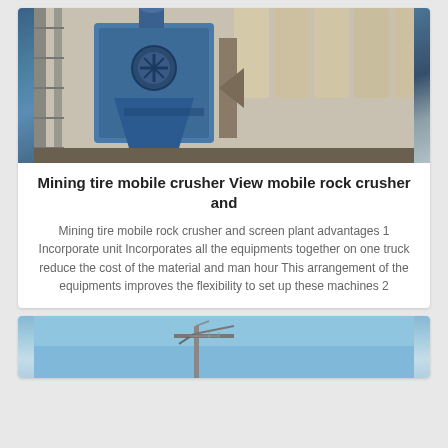[Figure (photo): Industrial mining crusher equipment - large blue metal crushing machinery with pipes, scaffolding and dust collection bags in background]
Mining tire mobile crusher View mobile rock crusher and
Mining tire mobile rock crusher and screen plant advantages 1 Incorporate unit Incorporates all the equipments together on one truck reduce the cost of the material and man hour This arrangement of the equipments improves the flexibility to set up these machines 2
[Figure (photo): Mining equipment or crane structure against a blue sky background]